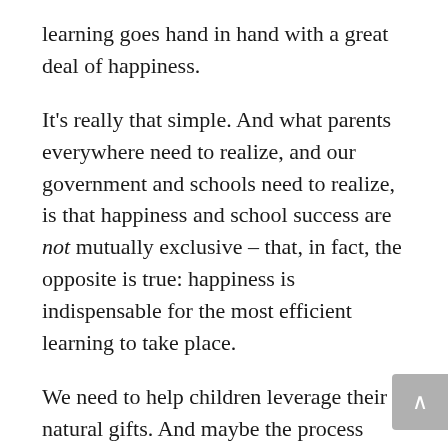learning goes hand in hand with a great deal of happiness.
It's really that simple. And what parents everywhere need to realize, and our government and schools need to realize, is that happiness and school success are not mutually exclusive – that, in fact, the opposite is true: happiness is indispensable for the most efficient learning to take place.
We need to help children leverage their natural gifts. And maybe the process won't be as linear as our culture would prefer, and maybe we won't always be able to quantify it with numbers. But